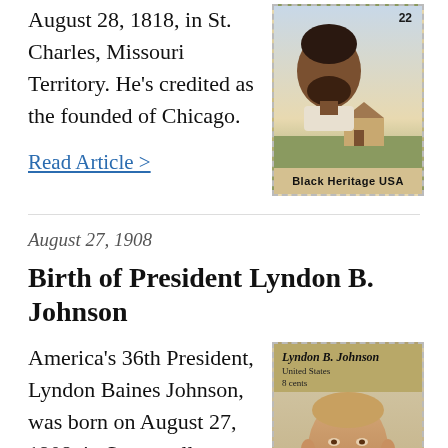August 28, 1818, in St. Charles, Missouri Territory. He's credited as the founded of Chicago.
Read Article >
[Figure (illustration): US postage stamp - Black Heritage USA 22 cents, depicting a portrait of a man with a small house/building in the background]
August 27, 1908
Birth of President Lyndon B. Johnson
America's 36th President, Lyndon Baines Johnson, was born on August 27, 1908, in Stonewall, Texas. President Johnson promoted a “Great Society” and signed many initiatives into law aimed at civil rights, public
[Figure (illustration): US postage stamp - Lyndon B. Johnson United States 8 cents, depicting a portrait of President Johnson in a suit]